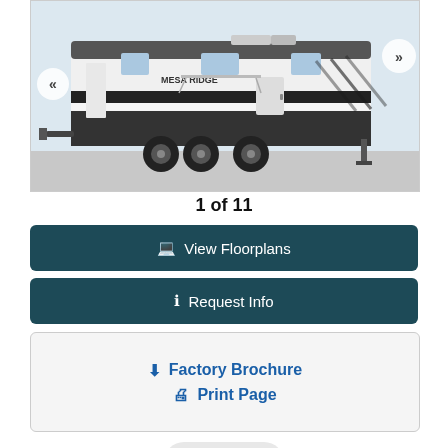[Figure (photo): Photo of a Mesa Ridge travel trailer / fifth wheel RV (white with black accents and graphics), shown from the side. Navigation arrows on left and right sides of the image.]
1 of 11
🖥 View Floorplans
ℹ Request Info
⬇ Factory Brochure
🖨 Print Page
↗ Share